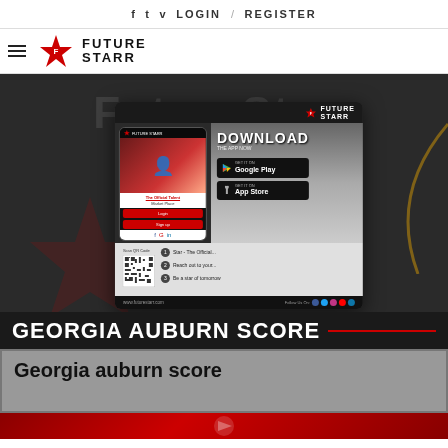f  t  v  LOGIN / REGISTER
[Figure (logo): FutureStarr logo with star icon and hamburger menu]
[Figure (infographic): FutureStarr app download advertisement banner showing phone mockup, Download The App Now, Google Play and App Store buttons, QR code, and features list with www.futurestarr.com]
GEORGIA AUBURN SCORE
Georgia auburn score
[Figure (photo): Partial thumbnail image at bottom showing red football-related imagery]